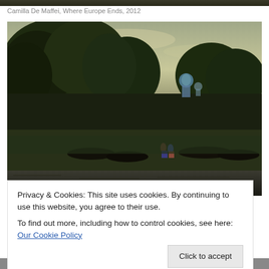[Figure (photo): Dark strip at top of page, cropped bottom of previous photo]
Camilla De Maffei, Where Europe Ends, 2012
[Figure (photo): Landscape photograph showing a river scene with large trees, boats pulled ashore, people on the bank, a village with a blue-domed church visible in the background, taken at dusk or golden hour]
Privacy & Cookies: This site uses cookies. By continuing to use this website, you agree to their use.
To find out more, including how to control cookies, see here: Our Cookie Policy
Click to accept